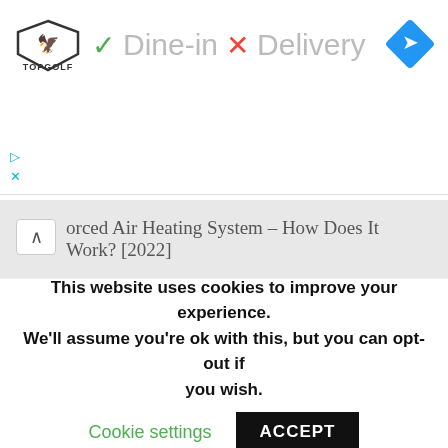[Figure (logo): Topgolf logo with shield/bird emblem and wordmark]
✓ Dine-in  ✕ Delivery
[Figure (illustration): Blue diamond navigation arrow icon]
▷
✕
^ orced Air Heating System – How Does It Work? [2022]
Leaking Shower Drain? – Here Are Best Methods To Fix It [2022]
You Must Know These Strange Sky TV Codes
How To Screenshot On HP and Lenovo Laptop – Multiple Methods
Microwave Keeps Tripping Circuit Breaker? – Best Methods To Fix It [2022]
This website uses cookies to improve your experience. We'll assume you're ok with this, but you can opt-out if you wish.
Cookie settings
ACCEPT